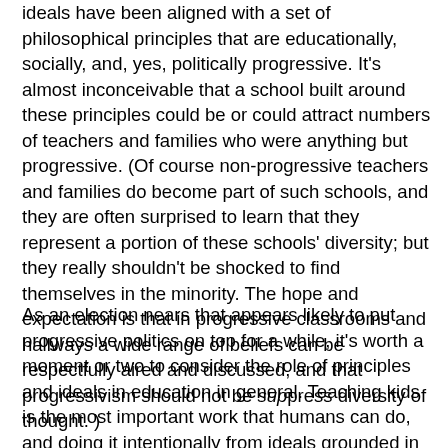ideals have been aligned with a set of philosophical principles that are educationally, socially, and, yes, politically progressive. It's almost inconceivable that a school built around these principles could be or could attract numbers of teachers and families who were anything but progressive. (Of course non-progressive teachers and families do become part of such schools, and they are often surprised to learn that they represent a portion of these schools' diversity; but they really shouldn't be shocked to find themselves in the minority. The hope and expectation is that in progressive classrooms and hallways a wide range of beliefs can be respectfully aired and discussed, and that progressivism should not be suppress diversity of thought. )
As an election nears that appears likely to put progressive politics on top for a while, it's worth a moment or two to consider the role of principles and ideals in education in general. Teaching kids is the most important work that humans can do, and doing it intentionally from ideals grounded in fundamental beliefs about human nature is critical. If we are in a time of the ascendancy of Rousseau, I think that's a pretty good thing. I don't think New